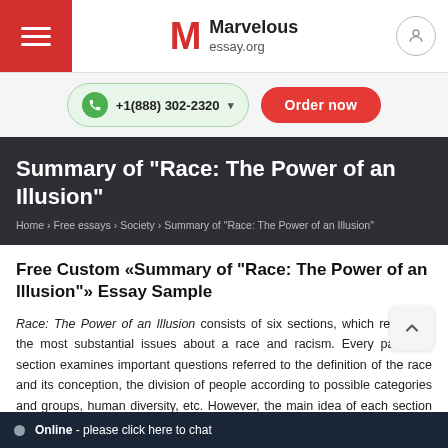Marvelous essay.org
Summary of "Race: The Power of an Illusion"
Home › Free essays › Society › Summary of "Race: The Power of an Illusion"
Free Custom «Summary of "Race: The Power of an Illusion"» Essay Sample
Race: The Power of an Illusion consists of six sections, which represent the most substantial issues about a race and racism. Every particular section examines important questions referred to the definition of the race and its conception, the division of people according to possible categories and groups, human diversity, etc. However, the main idea of each section is to define how a race segregates society causing racism and poverty.
The first section What is Race? d…notion of a race. The point is th…